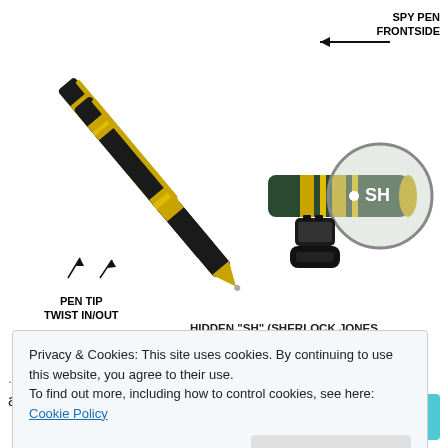[Figure (photo): Product photo of spy pens (black and gold) with labels: 'SPY PEN FRONTSIDE' arrow pointing to pen front, 'PEN TIP TWIST IN/OUT' arrows at pen tip, magnified circle showing 'SH' label on pen body with USB connector below, and partial text 'HIDDEN "SH" (SHERLOCK JONES' at bottom of image.]
Privacy & Cookies: This site uses cookies. By continuing to use this website, you agree to their use.
To find out more, including how to control cookies, see here: Cookie Policy
Close and accept
...n
all the features.